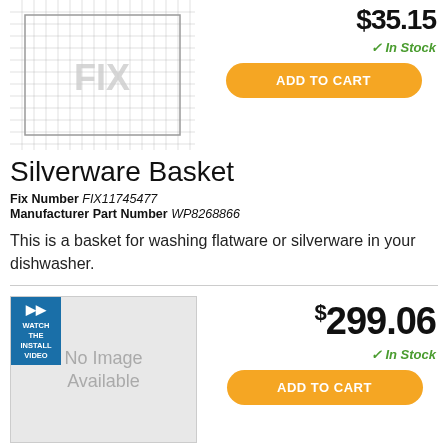[Figure (photo): Product photo of silverware basket with grid/mesh pattern, FIX watermark visible]
$35.15
✓ In Stock
ADD TO CART
Silverware Basket
Fix Number FIX11745477
Manufacturer Part Number WP8268866
This is a basket for washing flatware or silverware in your dishwasher.
[Figure (photo): No Image Available placeholder with blue Watch the Install Video badge]
$299.06
✓ In Stock
ADD TO CART
Lower Dishrack